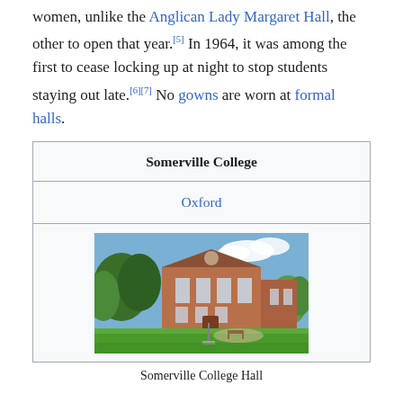women, unlike the Anglican Lady Margaret Hall, the other to open that year.[5] In 1964, it was among the first to cease locking up at night to stop students staying out late.[6][7] No gowns are worn at formal halls.
| Somerville College |
| --- |
| Oxford |
| [photo: Somerville College Hall] |
Somerville College Hall